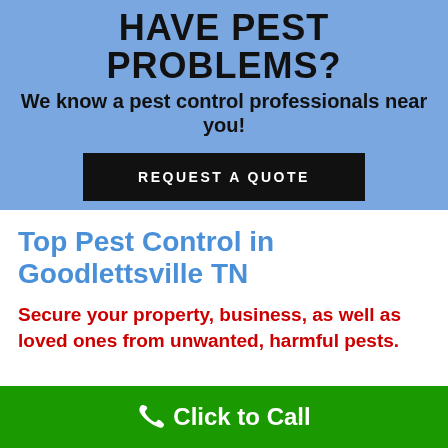HAVE PEST PROBLEMS?
We know a pest control professionals near you!
REQUEST A QUOTE
Top Pest Control in Goodlettsville TN
Secure your property, business, as well as loved ones from unwanted, harmful pests.
Click to Call